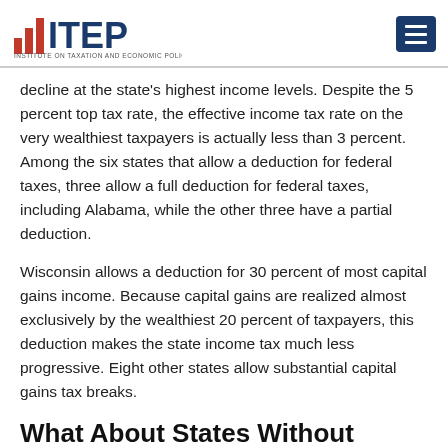ITEP - Institute on Taxation and Economic Policy
decline at the state’s highest income levels. Despite the 5 percent top tax rate, the effective income tax rate on the very wealthiest taxpayers is actually less than 3 percent. Among the six states that allow a deduction for federal taxes, three allow a full deduction for federal taxes, including Alabama, while the other three have a partial deduction.
Wisconsin allows a deduction for 30 percent of most capital gains income. Because capital gains are realized almost exclusively by the wealthiest 20 percent of taxpayers, this deduction makes the state income tax much less progressive. Eight other states allow substantial capital gains tax breaks.
What About States Without Income Taxes?
Not levying a personal income tax requires tradeoffs that are